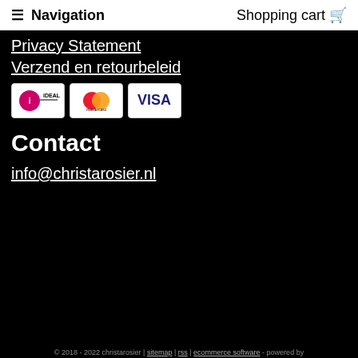≡ Navigation   Shopping cart 🛒
Privacy Statement
Verzend en retourbeleid
[Figure (other): Payment method icons: iDEAL, Mastercard, VISA]
Contact
info@christarosier.nl
© 2018 - 2022 christarosier | sitemap | rss | ecommerce software - powered by